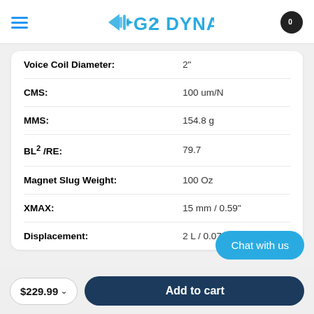G2 DYNAMICS
| Specification | Value |
| --- | --- |
| Voice Coil Diameter: | 2" |
| CMS: | 100 um/N |
| MMS: | 154.8 g |
| BL² /RE: | 79.7 |
| Magnet Slug Weight: | 100 Oz |
| XMAX: | 15 mm / 0.59" |
| Displacement: | 2 L / 0.073 cu.ft |
Chat with us
$229.99
Add to cart